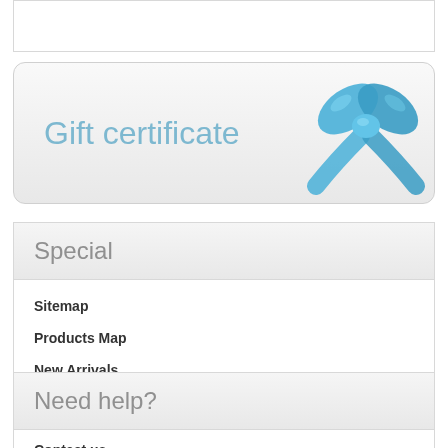[Figure (illustration): Gift certificate banner with blue ribbon bow on right side, light gray gradient background, text 'Gift certificate' in light blue color]
Special
Sitemap
Products Map
New Arrivals
On sale
Need help?
Contact us
Wholesale Candles